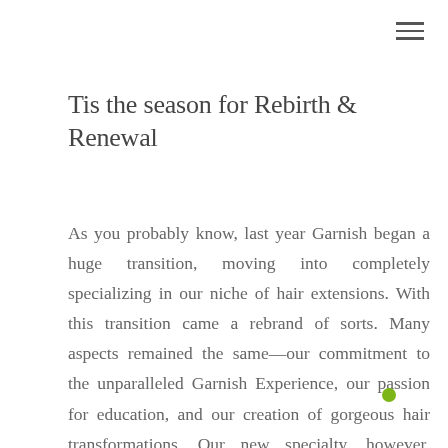Tis the season for Rebirth & Renewal
As you probably know, last year Garnish began a huge transition, moving into completely specializing in our niche of hair extensions. With this transition came a rebrand of sorts. Many aspects remained the same—our commitment to the unparalleled Garnish Experience, our passion for education, and our creation of gorgeous hair transformations. Our new specialty, however, meant that some of